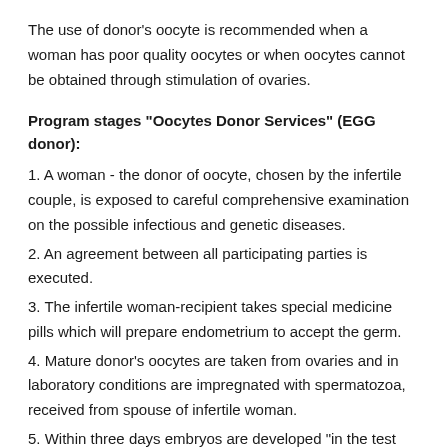The use of donor's oocyte is recommended when a woman has poor quality oocytes or when oocytes cannot be obtained through stimulation of ovaries.
Program stages "Oocytes Donor Services" (EGG donor):
1. A woman - the donor of oocyte, chosen by the infertile couple, is exposed to careful comprehensive examination on the possible infectious and genetic diseases.
2. An agreement between all participating parties is executed.
3. The infertile woman-recipient takes special medicine pills which will prepare endometrium to accept the germ.
4. Mature donor's oocytes are taken from ovaries and in laboratory conditions are impregnated with spermatozoa, received from spouse of infertile woman.
5. Within three days embryos are developed "in the test tube", then they are transferred to infertile woman's uterus.
Requirements for donors of oocytes: